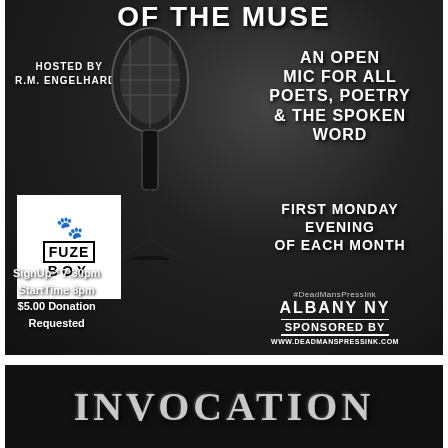[Figure (infographic): Black and white event poster for 'Of The Muse' open mic poetry event. Features a microphone on a stand, FUZE BOX logo, hosted by R.M. Engelhardt, details about an open mic for poets/poetry/spoken word, first Monday evening of each month, sign up 7:30pm, start time 8pm, $5.00 donation requested, Albany NY, sponsored by DeadMansPressInk, www.deadmanspressink.com]
INVOCATION